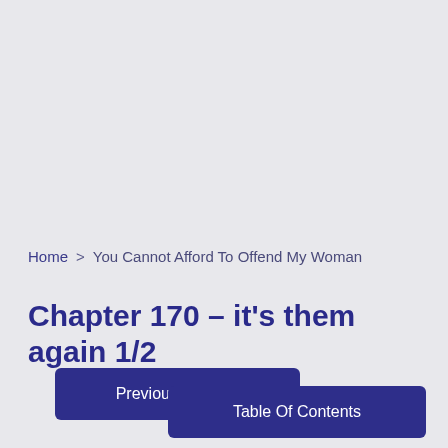Home > You Cannot Afford To Offend My Woman
Chapter 170 – it's them again 1/2
Previous Chapter
Table Of Contents